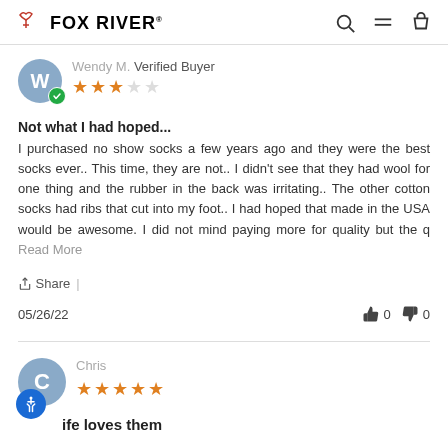FOX RIVER
Wendy M. Verified Buyer — 3 out of 5 stars
Not what I had hoped...
I purchased no show socks a few years ago and they were the best socks ever.. This time, they are not.. I didn't see that they had wool for one thing and the rubber in the back was irritating.. The other cotton socks had ribs that cut into my foot.. I had hoped that made in the USA would be awesome. I did not mind paying more for quality but the q Read More
Share |
05/26/22  👍 0  👎 0
Chris — 5 out of 5 stars
ife loves them